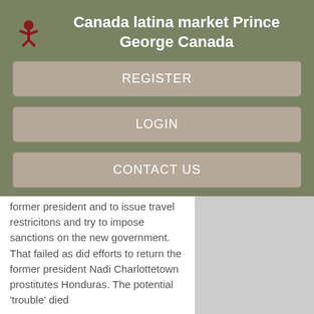Canada latina market Prince George Canada
REGISTER
LOGIN
CONTACT US
former president and to issue travel restricitons and try to impose sanctions on the new government. That failed as did efforts to return the former president Nadi Charlottetown prostitutes Honduras. The potential 'trouble' died